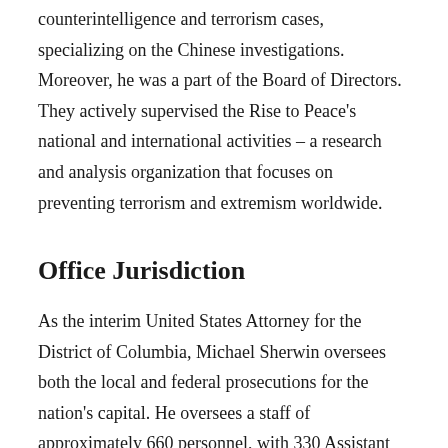counterintelligence and terrorism cases, specializing on the Chinese investigations. Moreover, he was a part of the Board of Directors. They actively supervised the Rise to Peace's national and international activities – a research and analysis organization that focuses on preventing terrorism and extremism worldwide.
Office Jurisdiction
As the interim United States Attorney for the District of Columbia, Michael Sherwin oversees both the local and federal prosecutions for the nation's capital. He oversees a staff of approximately 660 personnel, with 330 Assistant United States Attorneys and 330 support personnel. Additionally, the office manages civil cases involving the United States and recovers debts owed to the United States.